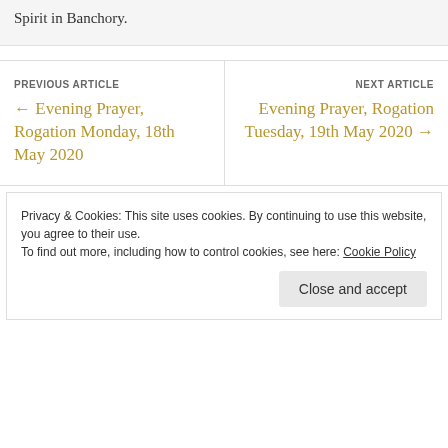Spirit in Banchory.
PREVIOUS ARTICLE
← Evening Prayer, Rogation Monday, 18th May 2020
NEXT ARTICLE
Evening Prayer, Rogation Tuesday, 19th May 2020 →
Privacy & Cookies: This site uses cookies. By continuing to use this website, you agree to their use.
To find out more, including how to control cookies, see here: Cookie Policy
Close and accept